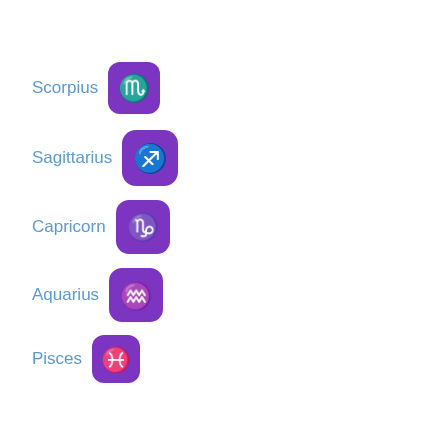Scorpius ♏
Sagittarius ♐
Capricorn ♑
Aquarius ♒
Pisces ♓
ID Button 🆔
Atom Symbol ⚛
Japanese &q 🉑